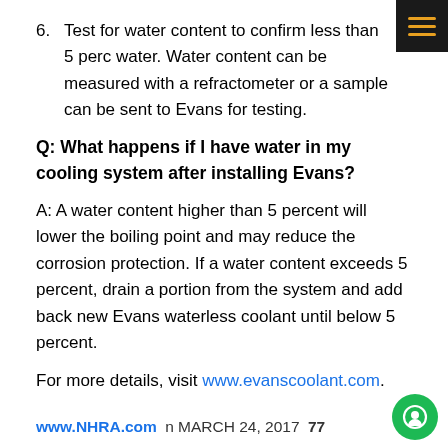6. Test for water content to confirm less than 5 percent water. Water content can be measured with a refractometer or a sample can be sent to Evans for testing.
Q: What happens if I have water in my cooling system after installing Evans?
A: A water content higher than 5 percent will lower the boiling point and may reduce the corrosion protection. If a water content exceeds 5 percent, drain a portion from the system and add back new Evans waterless coolant until below 5 percent.
For more details, visit www.evanscoolant.com.
www.NHRA.com n MARCH 24, 2017 77